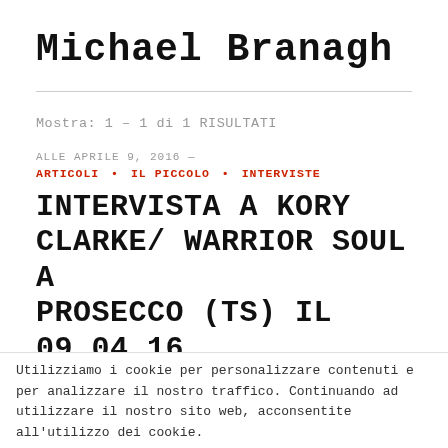Michael Branagh
Mostra: 1 – 1 di 1 RISULTATI
ALLE APRILE 9, 2016 —
ARTICOLI • IL PICCOLO • INTERVISTE
INTERVISTA A KORY CLARKE/ WARRIOR SOUL A PROSECCO (TS) IL 09.04.16
Utilizziamo i cookie per personalizzare contenuti e per analizzare il nostro traffico. Continuando ad utilizzare il nostro sito web, acconsentite all'utilizzo dei cookie.